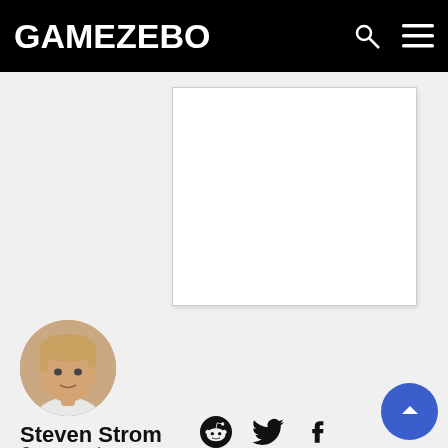GAMEZEBO
[Figure (photo): White rectangular image placeholder / advertisement block]
[Figure (photo): Circular author profile photo of Steven Strom, a young man with light brown hair]
Steven Strom
Content writer